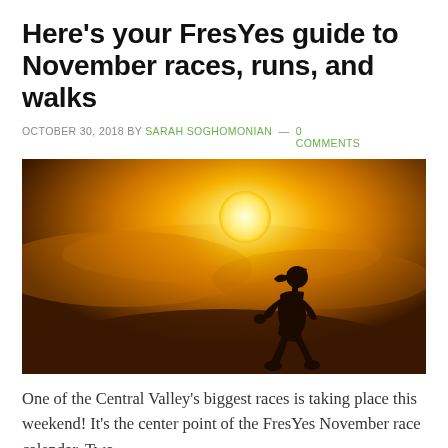Here's your FresYes guide to November races, runs, and walks
OCTOBER 30, 2018 BY SARAH SOGHOMONIAN — 0 COMMENTS
[Figure (photo): Silhouette of a woman running against a bright golden sunset background with glowing orange sky and sun.]
One of the Central Valley's biggest races is taking place this weekend! It's the center point of the FresYes November race calendar. Two